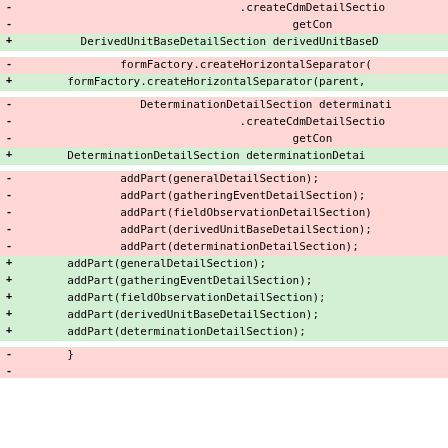[Figure (screenshot): Code diff view showing removed lines (red background, minus sign) and added lines (green background, plus sign) with monospace code content. Multiple diff hunks separated by whitespace gaps.]